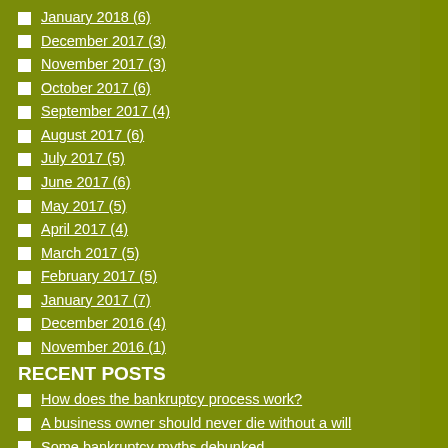January 2018 (6)
December 2017 (3)
November 2017 (3)
October 2017 (6)
September 2017 (4)
August 2017 (6)
July 2017 (5)
June 2017 (6)
May 2017 (5)
April 2017 (4)
March 2017 (5)
February 2017 (5)
January 2017 (7)
December 2016 (4)
November 2016 (1)
RECENT POSTS
How does the bankruptcy process work?
A business owner should never die without a will
Some bankruptcy myths debunked